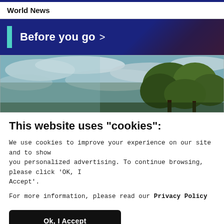World News
Before you go >
[Figure (photo): Outdoor nature photo showing trees with green foliage against a cloudy sky, taken from a low angle.]
This website uses "cookies":
We use cookies to improve your experience on our site and to show you personalized advertising. To continue browsing, please click 'OK, I Accept'.
For more information, please read our Privacy Policy
Ok, I Accept